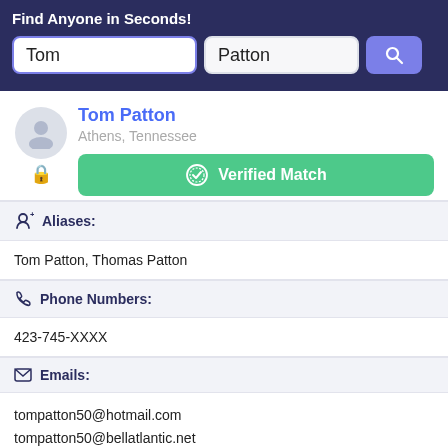Find Anyone in Seconds!
[Figure (screenshot): Search interface with two input fields: 'Tom' and 'Patton', with a blue search button]
Tom Patton
Athens, Tennessee
Verified Match
Aliases:
Tom Patton, Thomas Patton
Phone Numbers:
423-745-XXXX
Emails:
tompatton50@hotmail.com
tompatton50@bellatlantic.net
Addresses: